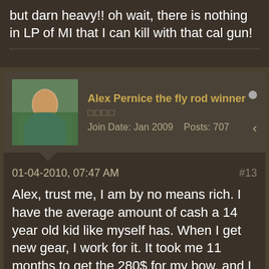but darn heavy!! oh wait, there is nothing in LP of MI that I can kill with that cal gun!
Alex Pernice the fly rod winner
□□□□
Join Date: Jan 2009   Posts: 707
01-04-2010, 07:47 AM   #13
Alex, trust me, I am by no means rich. I have the average amount of cash a 14 year old kid like myself has. When I get new gear, I work for it. It took me 11 months to get the 280$ for my bow, and I worked for every dollar. Don't go around assuming people have more money than you. But what you can do is work, and save money slowly to get the gear you need, and you can realize that that old dozen arrows will still work another few months but that String